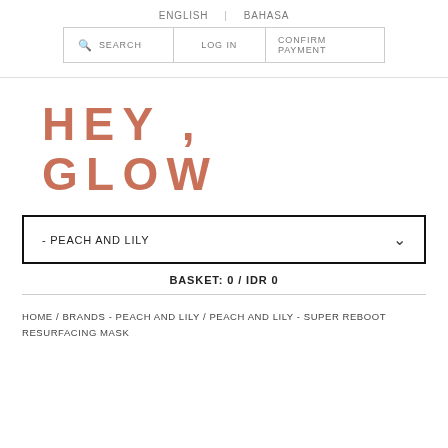ENGLISH | BAHASA
SEARCH | LOG IN | CONFIRM PAYMENT
HEY, GLOW
- PEACH AND LILY
BASKET: 0 / IDR 0
HOME / BRANDS - PEACH AND LILY / PEACH AND LILY - SUPER REBOOT RESURFACING MASK